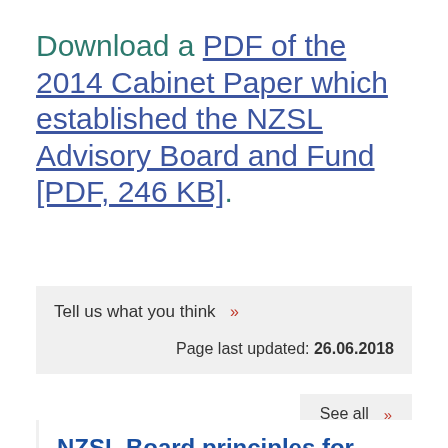Download a PDF of the 2014 Cabinet Paper which established the NZSL Advisory Board and Fund [PDF, 246 KB].
Tell us what you think »
Page last updated: 26.06.2018
See all »
NZSL Board principles for